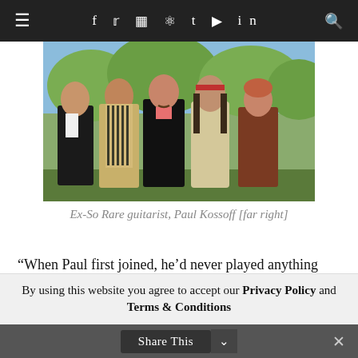≡  f  y  ⊡  ⊛  t  ▶  in  🔍
[Figure (photo): Group photo of five young men standing outdoors in 1960s/70s attire, with trees in the background. Identified as Ex-So Rare with guitarist Paul Kossoff at far right.]
Ex-So Rare guitarist, Paul Kossoff [far right]
“When Paul first joined, he’d never played anything except classical. He said that he was into the blues, though. From day one he was amazing. It
By using this website you agree to accept our Privacy Policy and Terms & Conditions
Share This  ∨  ✕